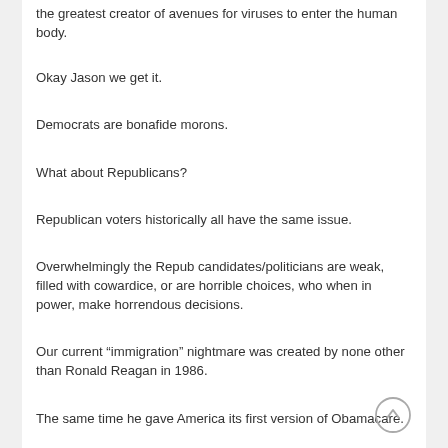the greatest creator of avenues for viruses to enter the human body.
Okay Jason we get it.
Democrats are bonafide morons.
What about Republicans?
Republican voters historically all have the same issue.
Overwhelmingly the Repub candidates/politicians are weak, filled with cowardice, or are horrible choices, who when in power, make horrendous decisions.
Our current “immigration” nightmare was created by none other than Ronald Reagan in 1986.
The same time he gave America its first version of Obamacare.
Those who don’t want to believe can look it up.